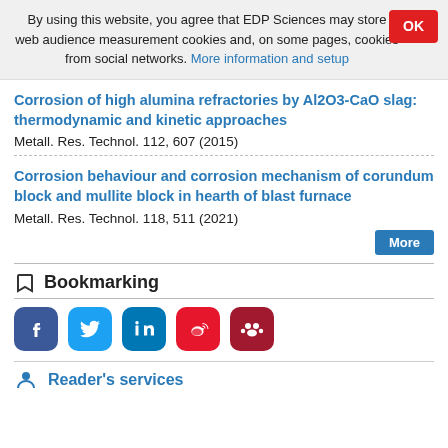By using this website, you agree that EDP Sciences may store web audience measurement cookies and, on some pages, cookies from social networks. More information and setup
Corrosion of high alumina refractories by Al2O3-CaO slag: thermodynamic and kinetic approaches
Metall. Res. Technol. 112, 607 (2015)
Corrosion behaviour and corrosion mechanism of corundum block and mullite block in hearth of blast furnace
Metall. Res. Technol. 118, 511 (2021)
Bookmarking
[Figure (infographic): Social bookmarking buttons: Facebook, Twitter, LinkedIn, Weibo, Mendeley]
Reader's services